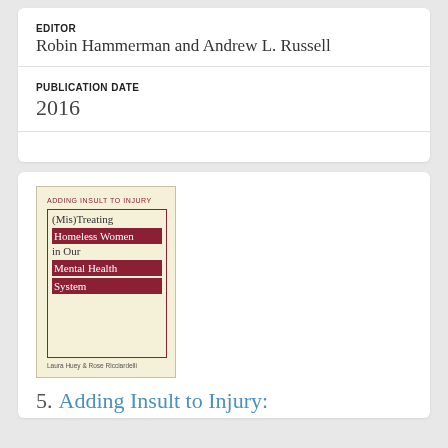EDITOR
Robin Hammerman and Andrew L. Russell
PUBLICATION DATE
2016
[Figure (photo): Book cover: Adding Insult to Injury — (Mis)Treating Homeless Women in Our Mental Health System, by Laura Huey & Rose Ricciardelli]
5. Adding Insult to Injury: